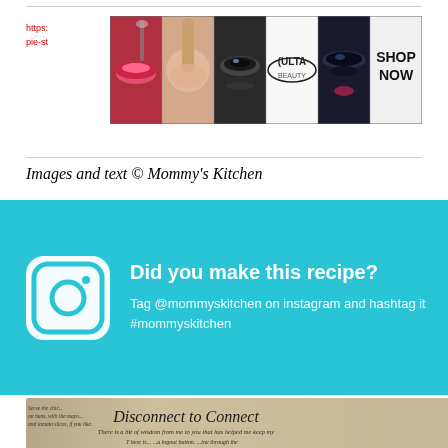[Figure (photo): Advertisement banner with makeup/beauty images and Ulta logo with SHOP NOW button]
https:// ...tter-pie-st...
Images and text © Mommy's Kitchen
[Figure (infographic): Teal/cyan Instagram call-to-action banner with Instagram icon, heading 'Did you make this recipe?' and text 'Tag @mommyskitchen on instagram and hashtag it #mommyskitchen']
[Figure (photo): Photo of a book page showing 'Disconnect to Connect' chapter heading and text about wisdom]